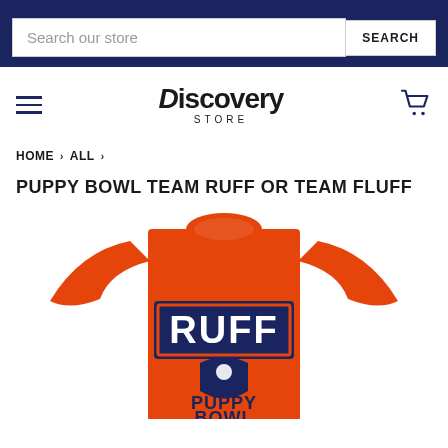[Figure (screenshot): Discovery Store e-commerce website screenshot showing search bar with navy blue background]
Discovery STORE
HOME › ALL ›
PUPPY BOWL TEAM RUFF OR TEAM FLUFF
[Figure (photo): Orange t-shirt with 'RUFF' text in navy/white on front, Puppy Bowl branding below]